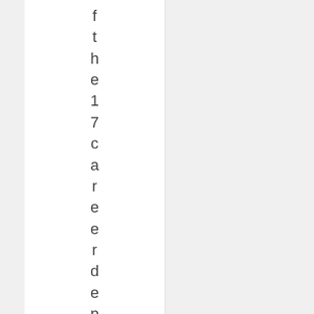f the 17 career departments, 12